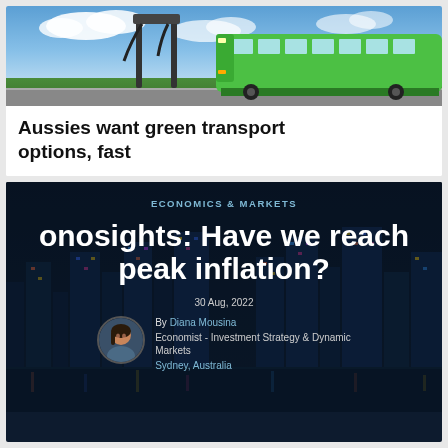[Figure (photo): Green electric bus at charging station with blue sky background]
Aussies want green transport options, fast
[Figure (photo): Dark cityscape at night with colorful lights, serving as background for article card]
ECONOMICS & MARKETS
onosights: Have we reached peak inflation?
30 Aug, 2022
By Diana Mousina
Economist - Investment Strategy & Dynamic Markets
Sydney, Australia